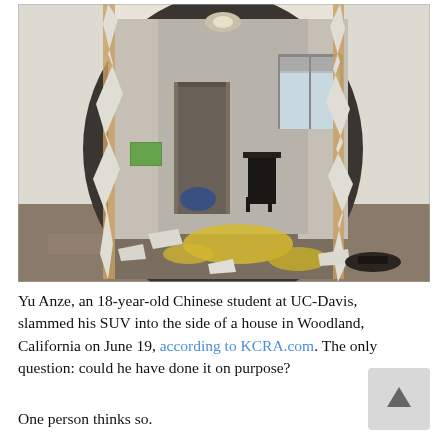[Figure (photo): Interior room viewed through a large hole smashed into a drywall. The hole reveals damaged wall studs, debris and insulation on the floor, a chair visible in the background room, a window with blinds, and a door. Yellow insulation material and drywall chunks are scattered on the floor.]
Yu Anze, an 18-year-old Chinese student at UC-Davis, slammed his SUV into the side of a house in Woodland, California on June 19, according to KCRA.com. The only question: could he have done it on purpose?
One person thinks so.